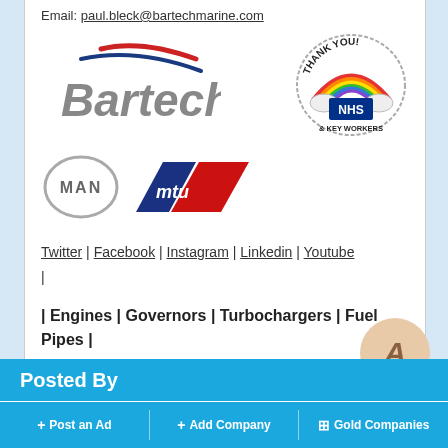Email: paul.bleck@bartechmarine.com
[Figure (logo): Bartech marine logo with red and blue swoosh above grey Bartech text]
[Figure (logo): Thank You NHS & Key Workers rainbow sticker badge]
[Figure (logo): MAN circular logo]
[Figure (logo): MTU parallelogram logo in blue and red]
Twitter | Facebook | Instagram | Linkedin | Youtube |
| Engines | Governors | Turbochargers | Fuel Pipes |
Posted By
+ Post an Ad   + Add Company   Gold Companies